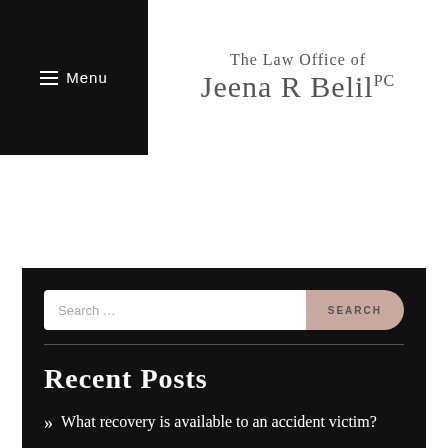Menu | The Law Office of Jeena R Belil PC
Search …
Recent Posts
What recovery is available to an accident victim?
Common safety hazards in construction
Underinsured New York motorists